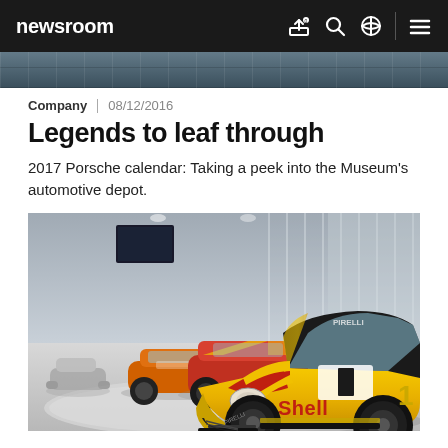newsroom
[Figure (photo): Partial view of a car roof/surface, dark background]
Company | 08/12/2016
Legends to leaf through
2017 Porsche calendar: Taking a peek into the Museum's automotive depot.
[Figure (photo): Porsche museum interior showing multiple race cars including a prominent yellow Shell-sponsored Porsche 911 in the foreground, with orange and other Porsche cars behind it on a circular display platform.]